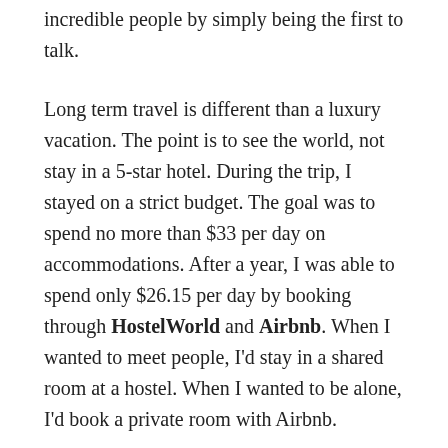incredible people by simply being the first to talk.
Long term travel is different than a luxury vacation. The point is to see the world, not stay in a 5-star hotel. During the trip, I stayed on a strict budget. The goal was to spend no more than $33 per day on accommodations. After a year, I was able to spend only $26.15 per day by booking through HostelWorld and Airbnb. When I wanted to meet people, I'd stay in a shared room at a hostel. When I wanted to be alone, I'd book a private room with Airbnb.
Take the cost of your rent or mortgage + food per month and divide it by 30. This is